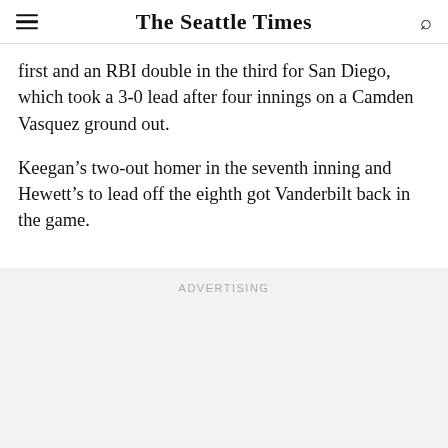The Seattle Times
first and an RBI double in the third for San Diego, which took a 3-0 lead after four innings on a Camden Vasquez ground out.
Keegan’s two-out homer in the seventh inning and Hewett’s to lead off the eighth got Vanderbilt back in the game.
ADVERTISING